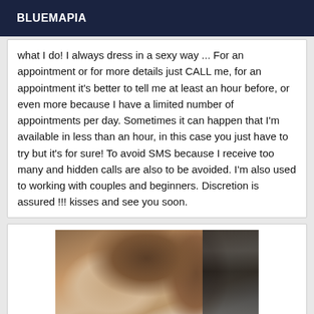BLUEMAPIA
what I do! I always dress in a sexy way ... For an appointment or for more details just CALL me, for an appointment it's better to tell me at least an hour before, or even more because I have a limited number of appointments per day. Sometimes it can happen that I'm available in less than an hour, in this case you just have to try but it's for sure! To avoid SMS because I receive too many and hidden calls are also to be avoided. I'm also used to working with couples and beginners. Discretion is assured !!! kisses and see you soon.
[Figure (photo): A photograph showing a person with dark brown hair, partially cropped, with what appears to be an electronic device visible in the upper right of the image.]